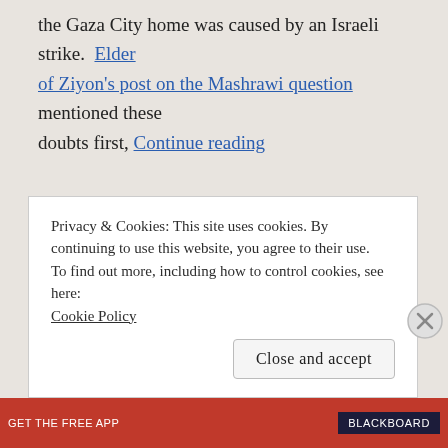the Gaza City home was caused by an Israeli strike. Elder of Ziyon's post on the Mashrawi question mentioned these doubts first, Continue reading
Privacy & Cookies: This site uses cookies. By continuing to use this website, you agree to their use.
To find out more, including how to control cookies, see here: Cookie Policy
Close and accept